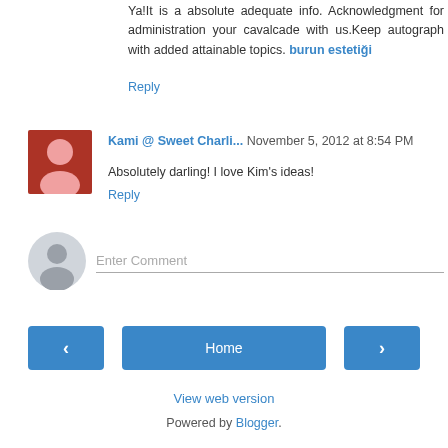Ya!It is a absolute adequate info. Acknowledgment for administration your cavalcade with us.Keep autograph with added attainable topics. burun estetiği
Reply
Kami @ Sweet Charli... November 5, 2012 at 8:54 PM
Absolutely darling! I love Kim's ideas!
Reply
[Figure (other): User avatar placeholder circle icon]
Enter Comment
Home
View web version
Powered by Blogger.